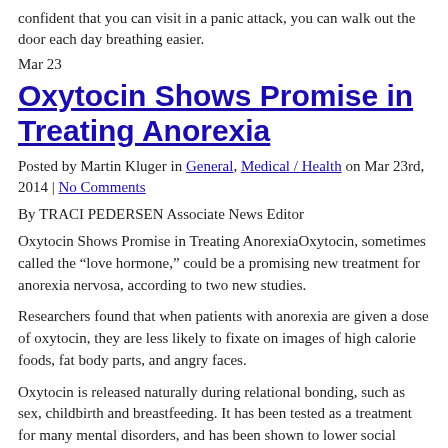confident that you can visit in a panic attack, you can walk out the door each day breathing easier.
Mar 23
Oxytocin Shows Promise in Treating Anorexia
Posted by Martin Kluger in General, Medical / Health on Mar 23rd, 2014 | No Comments
By TRACI PEDERSEN Associate News Editor
Oxytocin Shows Promise in Treating AnorexiaOxytocin, sometimes called the “love hormone,” could be a promising new treatment for anorexia nervosa, according to two new studies.
Researchers found that when patients with anorexia are given a dose of oxytocin, they are less likely to fixate on images of high calorie foods, fat body parts, and angry faces.
Oxytocin is released naturally during relational bonding, such as sex, childbirth and breastfeeding. It has been tested as a treatment for many mental disorders, and has been shown to lower social